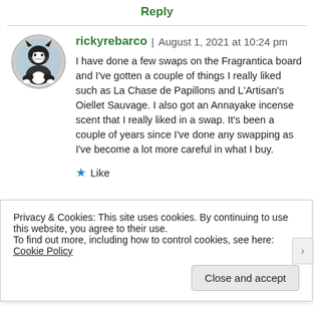Reply
[Figure (photo): Circular avatar of a cat (black and white tuxedo cat sitting upright)]
rickyrebarco | August 1, 2021 at 10:24 pm
I have done a few swaps on the Fragrantica board and I've gotten a couple of things I really liked such as La Chase de Papillons and L'Artisan's Oiellet Sauvage. I also got an Annayake incense scent that I really liked in a swap. It's been a couple of years since I've done any swapping as I've become a lot more careful in what I buy.
★ Like
Privacy & Cookies: This site uses cookies. By continuing to use this website, you agree to their use.
To find out more, including how to control cookies, see here: Cookie Policy
Close and accept